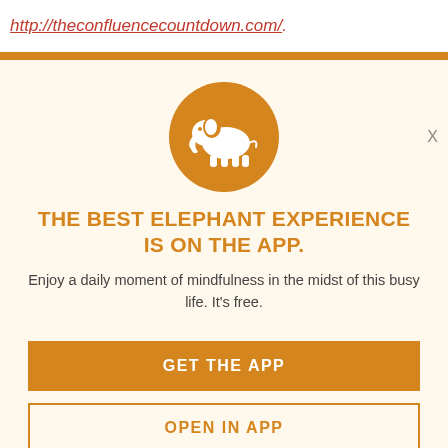http://theconfluencecountdown.com/.
[Figure (illustration): Orange circle with white elephant silhouette logo]
THE BEST ELEPHANT EXPERIENCE IS ON THE APP.
Enjoy a daily moment of mindfulness in the midst of this busy life. It's free.
GET THE APP
OPEN IN APP